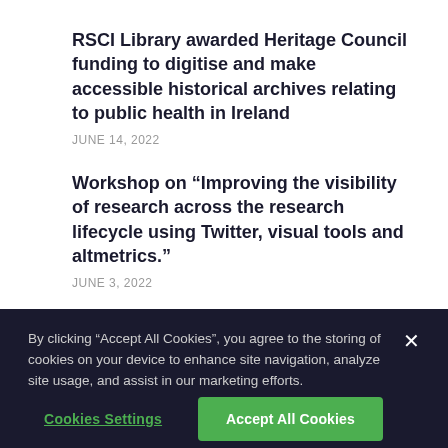RSCI Library awarded Heritage Council funding to digitise and make accessible historical archives relating to public health in Ireland
JUNE 14, 2022
Workshop on “Improving the visibility of research across the research lifecycle using Twitter, visual tools and altmetrics.”
JUNE 3, 2022
By clicking “Accept All Cookies”, you agree to the storing of cookies on your device to enhance site navigation, analyze site usage, and assist in our marketing efforts.
Cookies Settings
Accept All Cookies